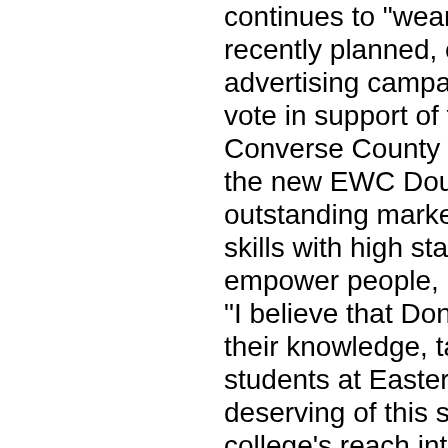continues to "wear the black and go... recently planned, coordinated and d... advertising campaign to encourage... vote in support of the special purpos... Converse County voters supported... the new EWC Douglas Branch cam... outstanding marketing and public re... skills with high standards of persona... empower people, be a direction sett... "I believe that Don, Patrick, Teal, Pe... their knowledge, talents, skills, and... students at Eastern Wyoming Colleg... deserving of this statewide recogniti... college's reach into the community. ... group of professionals and exceptio... make a difference daily," added EW... Eastern Wyoming College was also... Awards Ceremony and Legislative...